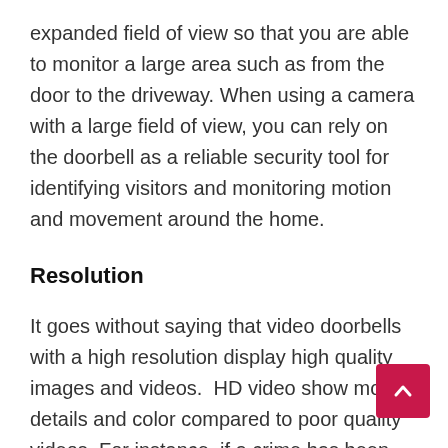expanded field of view so that you are able to monitor a large area such as from the door to the driveway. When using a camera with a large field of view, you can rely on the doorbell as a reliable security tool for identifying visitors and monitoring motion and movement around the home.
Resolution
It goes without saying that video doorbells with a high resolution display high quality images and videos.  HD video show more details and color compared to poor quality videos. For instance, if a crime has been committed, a video doorbell with high resolution can be quite useful in identifying